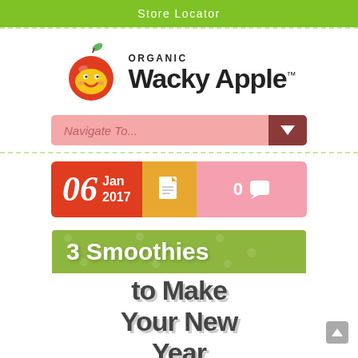Store Locator
[Figure (logo): Organic Wacky Apple logo with cartoon apple character]
[Figure (screenshot): Navigate To... dropdown navigation element]
[Figure (infographic): Date meta box showing 06 Jan 2017 with document icon and 0 comments]
[Figure (illustration): 3 Smoothies to Make Your New Year Healthier article title image with green polka dot banner]